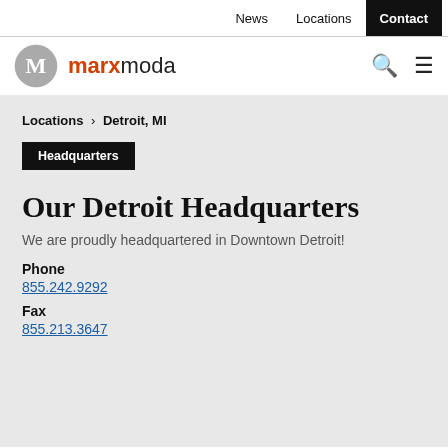News  Locations  Contact
[Figure (logo): marxmoda logo with circular M icon and brand name in orange/black]
Locations › Detroit, MI
Headquarters
Our Detroit Headquarters
We are proudly headquartered in Downtown Detroit!
Phone
855.242.9292
Fax
855.213.3647